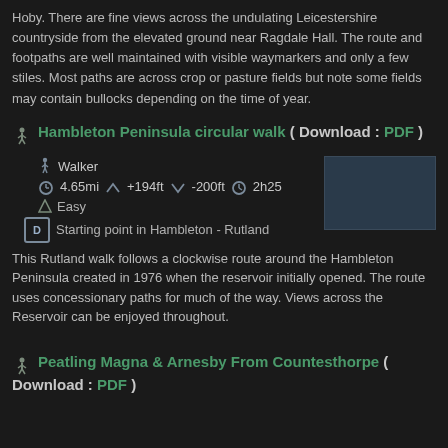Hoby. There are fine views across the undulating Leicestershire countryside from the elevated ground near Ragdale Hall. The route and footpaths are well maintained with visible waymarkers and only a few stiles. Most paths are across crop or pasture fields but note some fields may contain bullocks depending on the time of year.
Hambleton Peninsula circular walk ( Download : PDF )
Walker
4.65mi  +194ft  -200ft  2h25
Easy
Starting point in Hambleton - Rutland
[Figure (photo): Dark landscape/reservoir photograph thumbnail]
This Rutland walk follows a clockwise route around the Hambleton Peninsula created in 1976 when the reservoir initially opened. The route uses concessionary paths for much of the way. Views across the Reservoir can be enjoyed throughout.
Peatling Magna & Arnesby From Countesthorpe ( Download : PDF )